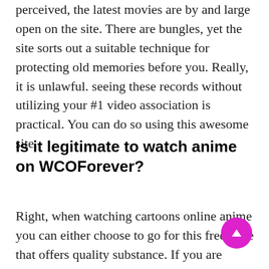perceived, the latest movies are by and large open on the site. There are bungles, yet the site sorts out a suitable technique for protecting old memories before you. Really, it is unlawful. seeing these records without utilizing your #1 video association is practical. You can do so using this awesome site.
Is it legitimate to watch anime on WCOForever?
Right, when watching cartoons online anime you can either choose to go for this free page that offers quality substance. If you are looking at the assumption with the assumption for free streaming